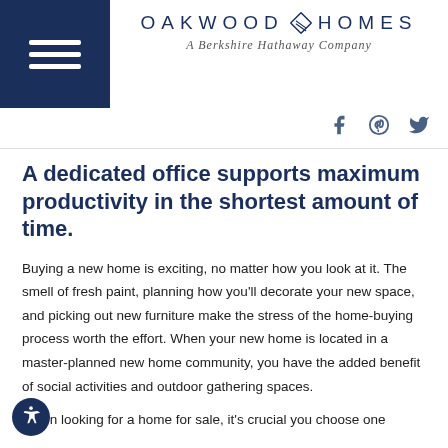OAKWOOD HOMES — A Berkshire Hathaway Company
A dedicated office supports maximum productivity in the shortest amount of time.
Buying a new home is exciting, no matter how you look at it. The smell of fresh paint, planning how you'll decorate your new space, and picking out new furniture make the stress of the home-buying process worth the effort. When your new home is located in a master-planned new home community, you have the added benefit of social activities and outdoor gathering spaces.
When looking for a home for sale, it's crucial you choose one